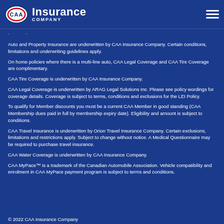CAA Insurance Company
Auto and Property Insurance are underwritten by CAA Insurance Company. Certain conditions, limitations and underwriting guidelines apply.
On home policies where there is a multi-line auto, CAA Legal Coverage and CAA Tire Coverage are complimentary.
CAA Tire Coverage is underwritten by CAA Insurance Company.
CAA Legal Coverage is underwritten by ARAG Legal Solutions Inc. Please see policy wordings for coverage details. Coverage is subject to terms, conditions and exclusions for the LEI Policy.
To qualify for Member discounts you must be a current CAA Member in good standing (CAA Membership dues paid in full by membership expiry date). Eligibility and amount is subject to conditions.
CAA Travel Insurance is underwritten by Orion Travel Insurance Company. Certain exclusions, limitations and restrictions apply. Subject to change without notice. A Medical Questionnaire may be required to purchase travel insurance.
CAA Water Coverage is underwritten by CAA Insurance Company.
CAA MyPace™ is a trademark of the Canadian Automobile Association. Vehicle compatibility and enrolment in CAA MyPace payment program is subject to terms and conditions.
© 2022 CAA Insurance Company